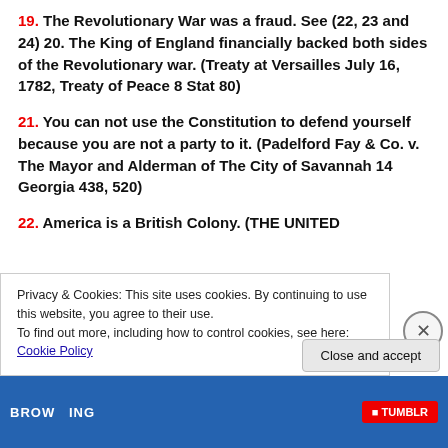19. The Revolutionary War was a fraud. See (22, 23 and 24) 20. The King of England financially backed both sides of the Revolutionary war. (Treaty at Versailles July 16, 1782, Treaty of Peace 8 Stat 80)
21. You can not use the Constitution to defend yourself because you are not a party to it. (Padelford Fay & Co. v. The Mayor and Alderman of The City of Savannah 14 Georgia 438, 520)
22. America is a British Colony. (THE UNITED
Privacy & Cookies: This site uses cookies. By continuing to use this website, you agree to their use.
To find out more, including how to control cookies, see here: Cookie Policy
Close and accept